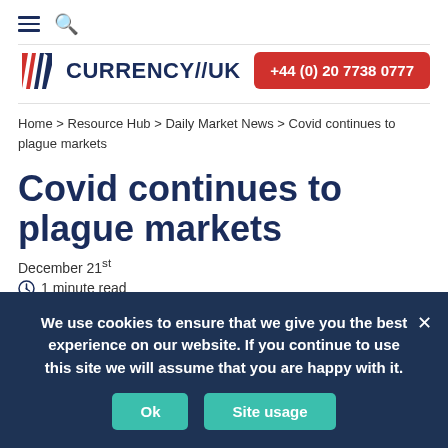≡ 🔍
[Figure (logo): Currency//UK logo with red and blue diagonal flag icon and dark blue CURRENCY//UK text]
+44 (0) 20 7738 0777
Home > Resource Hub > Daily Market News > Covid continues to plague markets
Covid continues to plague markets
December 21st
🕐 1 minute read
We use cookies to ensure that we give you the best experience on our website. If you continue to use this site we will assume that you are happy with it.